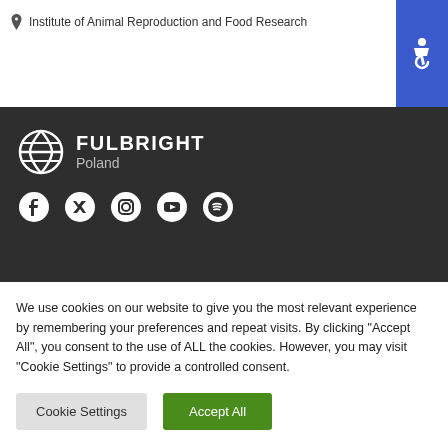Institute of Animal Reproduction and Food Research
[Figure (other): Blue accessibility icon button in top right corner with wheelchair symbol]
[Figure (logo): Fulbright Poland logo with globe icon, white text on dark background]
[Figure (other): Social media icons: Facebook, Twitter, Instagram, YouTube, Spotify]
We use cookies on our website to give you the most relevant experience by remembering your preferences and repeat visits. By clicking "Accept All", you consent to the use of ALL the cookies. However, you may visit "Cookie Settings" to provide a controlled consent.
Cookie Settings | Accept All